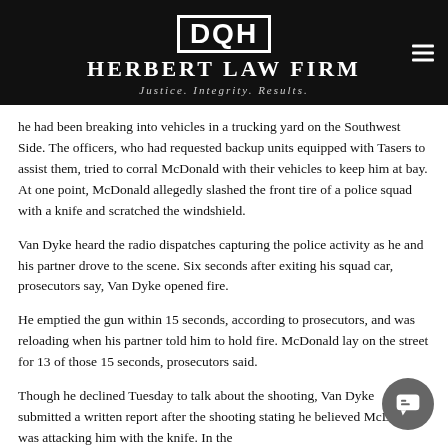[Figure (logo): Herbert Law Firm logo with DQH monogram in white on black background, with tagline 'Justice. Integrity. Results.']
he had been breaking into vehicles in a trucking yard on the Southwest Side. The officers, who had requested backup units equipped with Tasers to assist them, tried to corral McDonald with their vehicles to keep him at bay. At one point, McDonald allegedly slashed the front tire of a police squad with a knife and scratched the windshield.
Van Dyke heard the radio dispatches capturing the police activity as he and his partner drove to the scene. Six seconds after exiting his squad car, prosecutors say, Van Dyke opened fire.
He emptied the gun within 15 seconds, according to prosecutors, and was reloading when his partner told him to hold fire. McDonald lay on the street for 13 of those 15 seconds, prosecutors said.
Though he declined Tuesday to talk about the shooting, Van Dyke submitted a written report after the shooting stating he believed McDonald was attacking him with the knife. In the